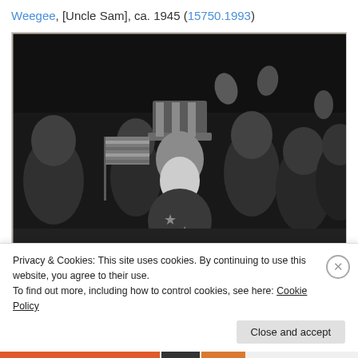Weegee, [Uncle Sam], ca. 1945 (15750.1993)
[Figure (photo): Black and white photograph by Weegee showing a crowd of celebrating people, with a man dressed as Uncle Sam wearing a top hat with stars and stripes, surrounded by cheering crowd waving an American flag, ca. 1945.]
Privacy & Cookies: This site uses cookies. By continuing to use this website, you agree to their use.
To find out more, including how to control cookies, see here: Cookie Policy